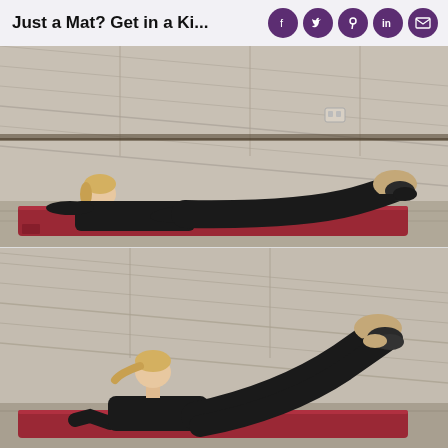Just a Mat? Get in a Ki...
[Figure (photo): Woman in black workout clothes lying flat on her back on a red yoga mat on a gym floor, head tilted back, arms at sides, legs extended with one knee slightly bent, wearing sneakers. Wooden paneled wall and railing in background.]
[Figure (photo): Same woman in black workout clothes on a red yoga mat, now performing a leg raise exercise with both legs elevated off the ground at an angle, supporting herself with her hands behind her, on a gym floor with wooden paneled wall in background.]